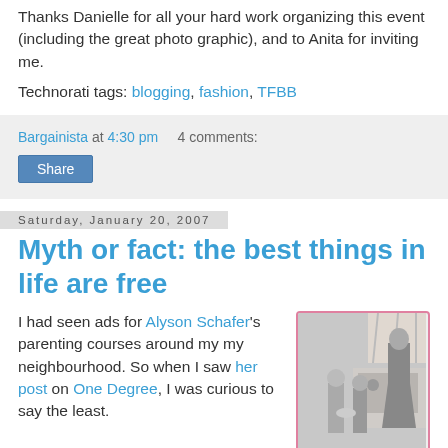Thanks Danielle for all your hard work organizing this event (including the great photo graphic), and to Anita for inviting me.
Technorati tags: blogging, fashion, TFBB
Bargainista at 4:30 pm   4 comments:
Share
Saturday, January 20, 2007
Myth or fact: the best things in life are free
I had seen ads for Alyson Schafer's parenting courses around my my neighbourhood. So when I saw her post on One Degree, I was curious to say the least.
[Figure (photo): Black and white vintage photo of a mother with two young children in a kitchen setting, with a pink border frame]
Alyson provided a detailed account of